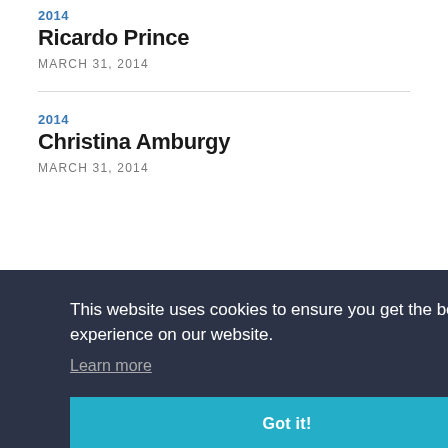2014
Ricardo Prince
MARCH 31, 2014
2014
Christina Amburgy
MARCH 31, 2014
This website uses cookies to ensure you get the best experience on our website.
Learn more
Got it!
2014